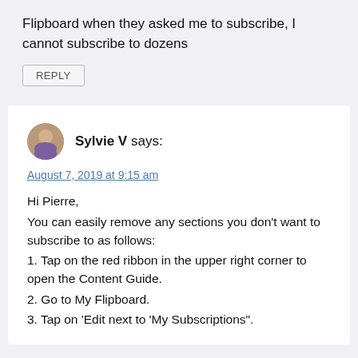Flipboard when they asked me to subscribe, I cannot subscribe to dozens
REPLY
Sylvie V says:
August 7, 2019 at 9:15 am
Hi Pierre,
You can easily remove any sections you don't want to subscribe to as follows:
1. Tap on the red ribbon in the upper right corner to open the Content Guide.
2. Go to My Flipboard.
3. Tap on 'Edit next to 'My Subscriptions".